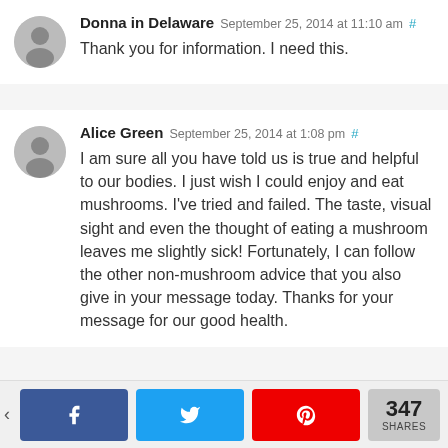Donna in Delaware September 25, 2014 at 11:10 am #
Thank you for information. I need this.
Alice Green September 25, 2014 at 1:08 pm #
I am sure all you have told us is true and helpful to our bodies. I just wish I could enjoy and eat mushrooms. I've tried and failed. The taste, visual sight and even the thought of eating a mushroom leaves me slightly sick! Fortunately, I can follow the other non-mushroom advice that you also give in your message today. Thanks for your message for our good health.
347 SHARES